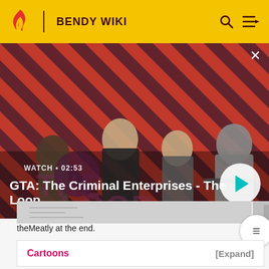BENDY WIKI
[Figure (screenshot): GTA: The Criminal Enterprises - The Loop video thumbnail with four characters on a red diagonal-stripe background, watch label showing 02:53, and a play button]
theMeatly at the end.
| Cartoons | [Expand] |
| --- | --- |